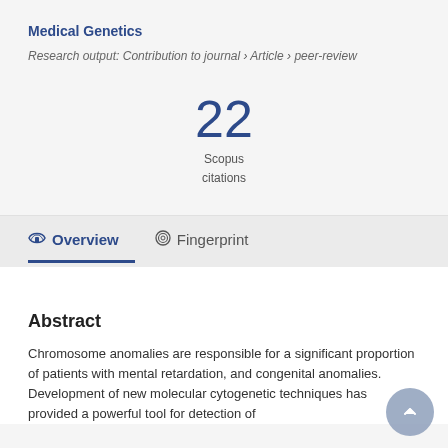Medical Genetics
Research output: Contribution to journal › Article › peer-review
22
Scopus citations
Overview   Fingerprint
Abstract
Chromosome anomalies are responsible for a significant proportion of patients with mental retardation, and congenital anomalies. Development of new molecular cytogenetic techniques has provided a powerful tool for detection of